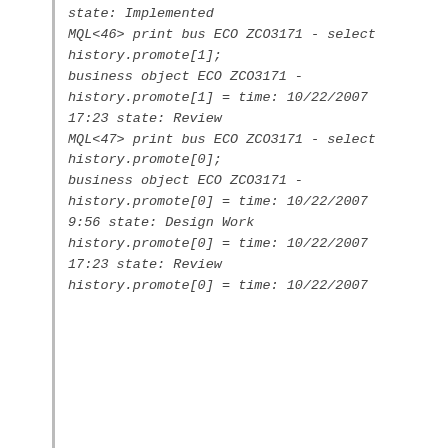state: Implemented
MQL<46> print bus ECO ZCO3171 - select history.promote[1];
business object ECO ZCO3171 - history.promote[1] = time: 10/22/2007 17:23 state: Review
MQL<47> print bus ECO ZCO3171 - select history.promote[0];
business object ECO ZCO3171 - history.promote[0] = time: 10/22/2007 9:56 state: Design Work
history.promote[0] = time: 10/22/2007 17:23 state: Review
history.promote[0] = time: 10/22/2007